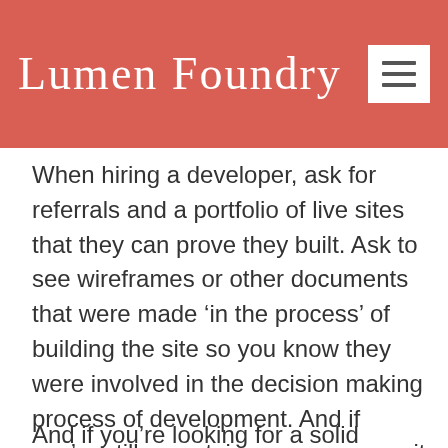Lumen Foundry
When hiring a developer, ask for referrals and a portfolio of live sites that they can prove they built. Ask to see wireframes or other documents that were made ‘in the process’ of building the site so you know they were involved in the decision making process of development. And if you’re still uncertain, you can commit to a smaller project to test your relationship and their reliability before moving full-force with a large development project.
And if you’re looking for a solid eCommerce S…